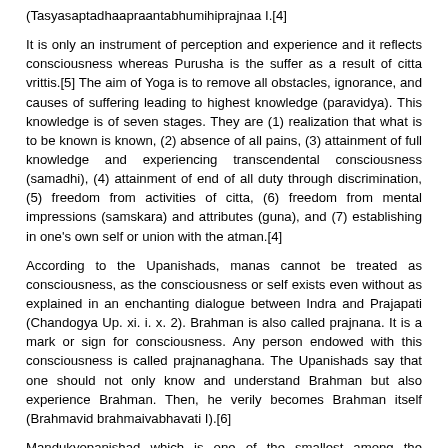(Tasyasaptadhaapraantabhumihiprajnaa I.[4]
It is only an instrument of perception and experience and it reflects consciousness whereas Purusha is the suffer as a result of citta vrittis.[5] The aim of Yoga is to remove all obstacles, ignorance, and causes of suffering leading to highest knowledge (paravidya). This knowledge is of seven stages. They are (1) realization that what is to be known is known, (2) absence of all pains, (3) attainment of full knowledge and experiencing transcendental consciousness (samadhi), (4) attainment of end of all duty through discrimination, (5) freedom from activities of citta, (6) freedom from mental impressions (samskara) and attributes (guna), and (7) establishing in one's own self or union with the atman.[4]
According to the Upanishads, manas cannot be treated as consciousness, as the consciousness or self exists even without as explained in an enchanting dialogue between Indra and Prajapati (Chandogya Up. xi. i. x. 2). Brahman is also called prajnana. It is a mark or sign for consciousness. Any person endowed with this consciousness is called prajnanaghana. The Upanishads say that one should not only know and understand Brahman but also experience Brahman. Then, he verily becomes Brahman itself (Brahmavid brahmaivabhavati I).[6]
Mandukyopanishad which is one of the smallest among the Upanishads describes four states of consciousness. They are the waking state (jagrat), dream state (svapnam), deep sleep state (sushupti), and fourth state (turiya). Turiya is a state in which there is no subjective or objective experience. There is no intermediate experience between the two. The